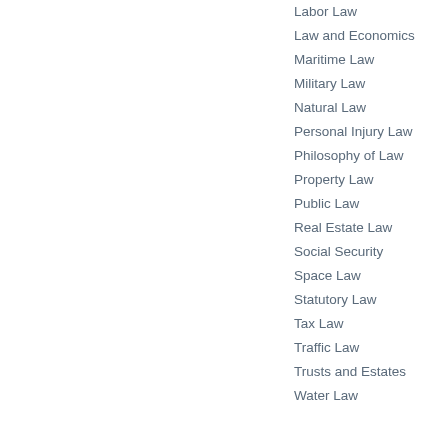Labor Law
Law and Economics
Maritime Law
Military Law
Natural Law
Personal Injury Law
Philosophy of Law
Property Law
Public Law
Real Estate Law
Social Security
Space Law
Statutory Law
Tax Law
Traffic Law
Trusts and Estates
Water Law
Breath A
--------
Bugging
--------
Can we
--------
Carrying
--------
Carting
--------
Child Su
--------
Correcti
--------
Crime a
--------
Crimina
--------
Crimina
--------
Crimina
--------
Crimina
--------
Crimina